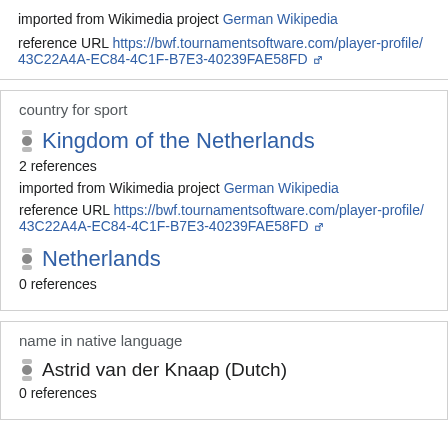imported from Wikimedia project German Wikipedia
reference URL https://bwf.tournamentsoftware.com/player-profile/43C22A4A-EC84-4C1F-B7E3-40239FAE58FD
country for sport
Kingdom of the Netherlands
2 references
imported from Wikimedia project German Wikipedia
reference URL https://bwf.tournamentsoftware.com/player-profile/43C22A4A-EC84-4C1F-B7E3-40239FAE58FD
Netherlands
0 references
name in native language
Astrid van der Knaap (Dutch)
0 references